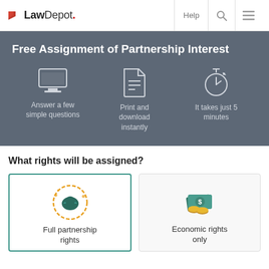LawDepot. | Help | Search | Menu
Free Assignment of Partnership Interest
Answer a few simple questions
Print and download instantly
It takes just 5 minutes
What rights will be assigned?
Full partnership rights
Economic rights only